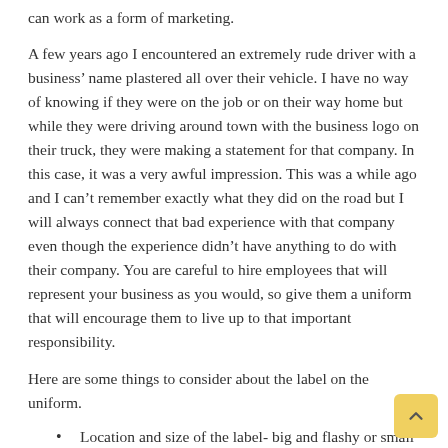can work as a form of marketing.
A few years ago I encountered an extremely rude driver with a business’ name plastered all over their vehicle. I have no way of knowing if they were on the job or on their way home but while they were driving around town with the business logo on their truck, they were making a statement for that company. In this case, it was a very awful impression. This was a while ago and I can’t remember exactly what they did on the road but I will always connect that bad experience with that company even though the experience didn’t have anything to do with their company. You are careful to hire employees that will represent your business as you would, so give them a uniform that will encourage them to live up to that important responsibility.
Here are some things to consider about the label on the uniform.
Location and size of the label- big and flashy or small and classy?